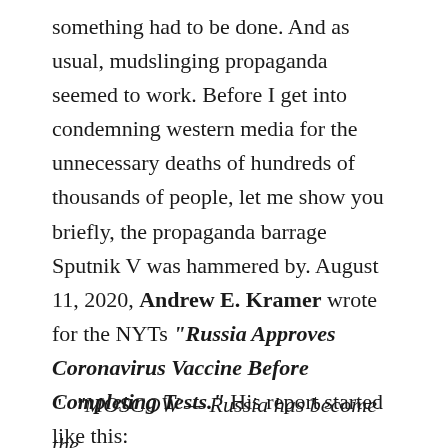something had to be done. And as usual, mudslinging propaganda seemed to work. Before I get into condemning western media for the unnecessary deaths of hundreds of thousands of people, let me show you briefly, the propaganda barrage Sputnik V was hammered by. August 11, 2020, Andrew E. Kramer wrote for the NYTs "Russia Approves Coronavirus Vaccine Before Completing Tests." His report started like this:
" "MOSCOW — Russia has become the